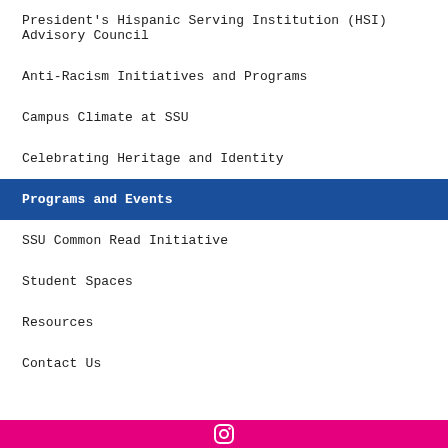President's Hispanic Serving Institution (HSI) Advisory Council
Anti-Racism Initiatives and Programs
Campus Climate at SSU
Celebrating Heritage and Identity
Programs and Events
SSU Common Read Initiative
Student Spaces
Resources
Contact Us